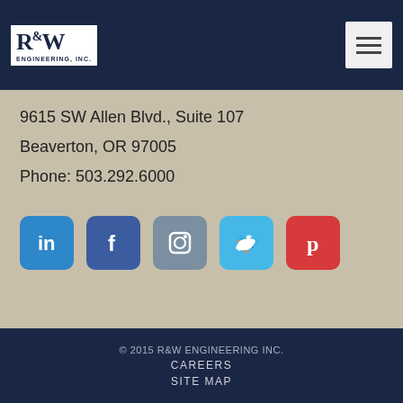[Figure (logo): R&W Engineering Inc. logo in white box on dark navy navigation bar with hamburger menu button on the right]
9615 SW Allen Blvd., Suite 107
Beaverton, OR 97005
Phone: 503.292.6000
[Figure (infographic): Row of five social media icon buttons: LinkedIn (blue), Facebook (dark blue), Instagram (grey-blue), Twitter (light blue), Pinterest (red)]
© 2015 R&W ENGINEERING INC.
CAREERS
SITE MAP